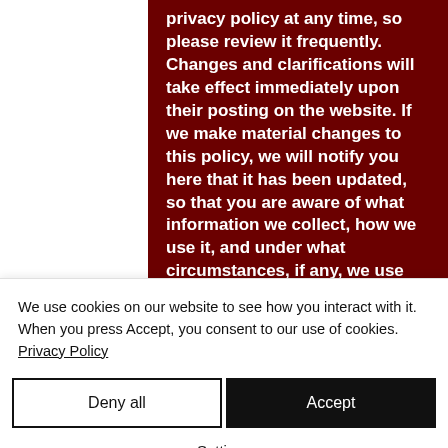privacy policy at any time, so please review it frequently. Changes and clarifications will take effect immediately upon their posting on the website. If we make material changes to this policy, we will notify you here that it has been updated, so that you are aware of what information we collect, how we use it, and under what circumstances, if any, we use and / or disclose it. Questions and your contact
We use cookies on our website to see how you interact with it. When you press Accept, you consent to our use of cookies. Privacy Policy
Deny all
Accept
Settings